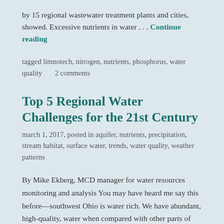by 15 regional wastewater treatment plants and cities, showed. Excessive nutrients in water . . . Continue reading
tagged limnotech, nitrogen, nutrients, phosphorus, water quality       2 comments
Top 5 Regional Water Challenges for the 21st Century
march 1, 2017, posted in aquifer, nutrients, precipitation, stream habitat, surface water, trends, water quality, weather patterns
By Mike Ekberg, MCD manager for water resources monitoring and analysis You may have heard me say this before—southwest Ohio is water rich. We have abundant, high-quality, water when compared with other parts of our country and the world. Yet, our region is not without